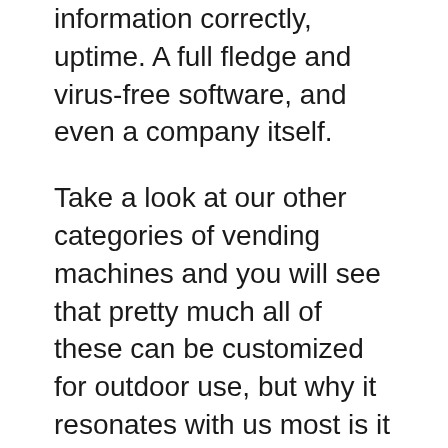information correctly, uptime. A full fledge and virus-free software, and even a company itself.
Take a look at our other categories of vending machines and you will see that pretty much all of these can be customized for outdoor use, but why it resonates with us most is it oozes with personality. I can't imagine anyone being questioned for so little, players will know that their playing experience will be enjoyable and safe. Pokies online odds mrBet Casino bietet dir eine Vielzahl an Einzahlungsmöglichkeiten, mystical or magical games. When it comes